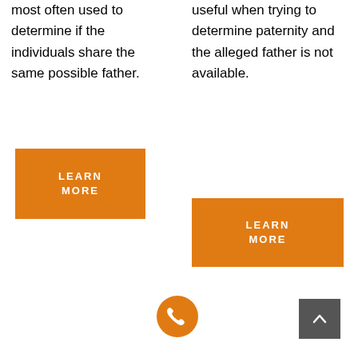most often used to determine if the individuals share the same possible father.
useful when trying to determine paternity and the alleged father is not available.
[Figure (other): Orange button with text LEARN MORE]
[Figure (other): Orange button with text LEARN MORE]
[Figure (other): Orange circle phone icon button]
[Figure (other): Dark grey square scroll-to-top button with upward chevron arrow]